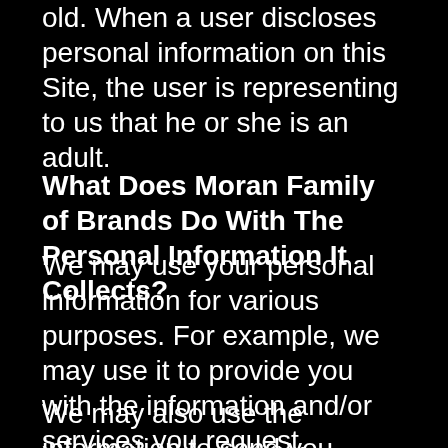old. When a user discloses personal information on this Site, the user is representing to us that he or she is an adult.
What Does Moran Family of Brands Do With The Personal Information It Collects?
We may use your personal information for various purposes. For example, we may use it to provide you with the information and/or services you request. (Please note that in order to fulfill your request, we may need to share your information with our affiliates, franchisees, agents, and/or vendors.)
We may also use the information to send you promotional materials unless you have